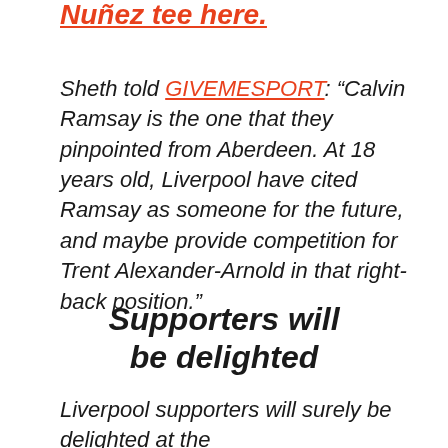Nuñez tee here.
Sheth told GIVEMESPORT: “Calvin Ramsay is the one that they pinpointed from Aberdeen. At 18 years old, Liverpool have cited Ramsay as someone for the future, and maybe provide competition for Trent Alexander-Arnold in that right-back position.”
Supporters will be delighted
Liverpool supporters will surely be delighted at the